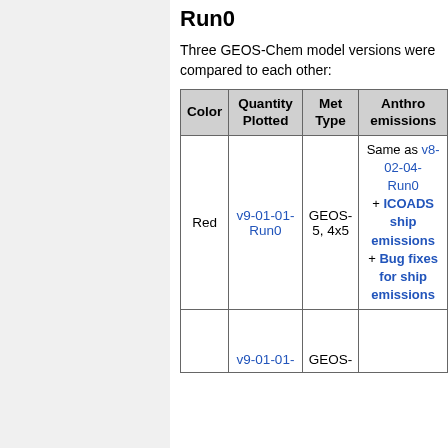Run0
Three GEOS-Chem model versions were compared to each other:
| Color | Quantity Plotted | Met Type | Anthro emissions |
| --- | --- | --- | --- |
| Red | v9-01-01-Run0 | GEOS-5, 4x5 | Same as v8-02-04- Run0 + ICOADS ship emissions + Bug fixes for ship emissions |
|  | v9-01-01- | GEOS- |  |